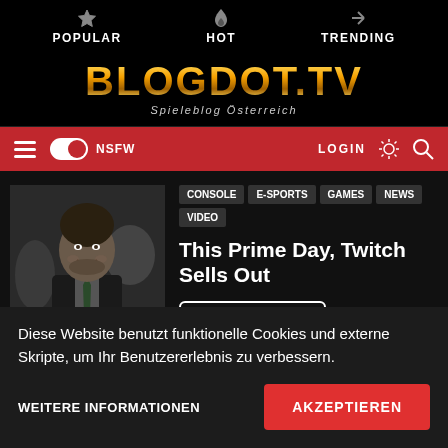POPULAR  HOT  TRENDING
[Figure (logo): BLOGDOT.TV logo with gold gradient text and subtitle 'Spieleblog Österreich']
NSFW  LOGIN
[Figure (photo): Man in suit smiling at event, black and white photo]
CONSOLE  E-SPORTS  GAMES  NEWS  VIDEO
This Prime Day, Twitch Sells Out
READ MORE
Diese Website benutzt funktionelle Cookies und externe Skripte, um Ihr Benutzererlebnis zu verbessern.
WEITERE INFORMATIONEN
AKZEPTIEREN